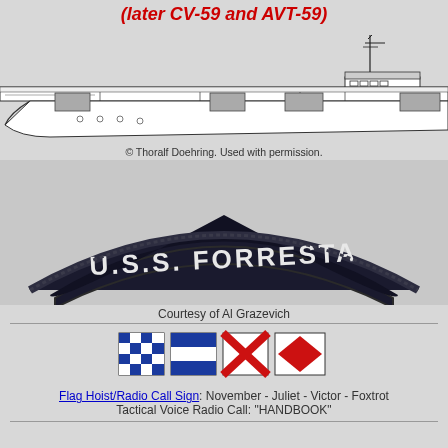(later CV-59 and AVT-59)
[Figure (illustration): Side-view line drawing of USS Forrestal aircraft carrier showing flight deck, island superstructure with mast, and hull]
© Thoralf Doehring. Used with permission.
[Figure (photo): Embroidered patch or uniform tab reading 'U.S.S. FORRESTA' (U.S.S. FORRESTAL) in white letters on dark navy/black background, curved arc shape]
Courtesy of Al Grazevich
[Figure (illustration): Four nautical signal flags in a row: November (blue and white checkered), Juliet (blue and white horizontal stripes), Victor (red X on white), Foxtrot (red diamond on white)]
Flag Hoist/Radio Call Sign: November - Juliet - Victor - Foxtrot
Tactical Voice Radio Call: "HANDBOOK"